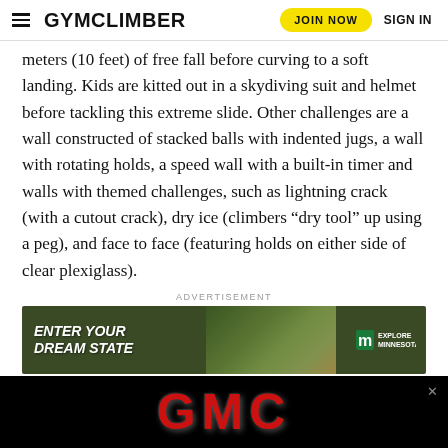GYMCLIMBER | JOIN NOW | SIGN IN
meters (10 feet) of free fall before curving to a soft landing. Kids are kitted out in a skydiving suit and helmet before tackling this extreme slide. Other challenges are a wall constructed of stacked balls with indented jugs, a wall with rotating holds, a speed wall with a built-in timer and walls with themed challenges, such as lightning crack (with a cutout crack), dry ice (climbers “dry tool” up using a peg), and face to face (featuring holds on either side of clear plexiglass).
ADVERTISEMENT
[Figure (photo): Advertisement banner: ENTER YOUR DREAM STATE - Explore Minnesota tourism ad with forest trail runners imagery]
For the working adults, there’s a conference room for the
[Figure (photo): GMC advertisement banner in black background with red GMC logo text, overlapping the bottom of the page]